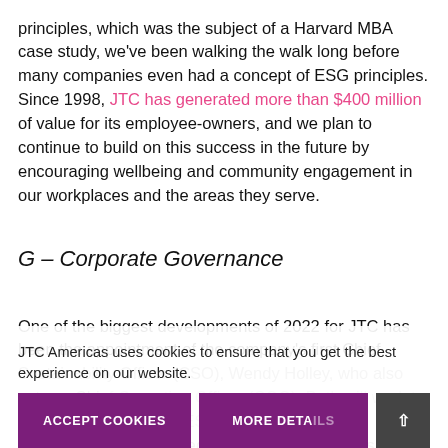principles, which was the subject of a Harvard MBA case study, we've been walking the walk long before many companies even had a concept of ESG principles. Since 1998, JTC has generated more than $400 million of value for its employee-owners, and we plan to continue to build on this success in the future by encouraging wellbeing and community engagement in our workplaces and the areas they serve.
G – Corporate Governance
One of the biggest developments of 2022 for JTC has been the appointment of the company's first Chief Sustainability Officer (CSO), Wendy Holley, who also acts as Chief Operating Officer (COO). Both will work to ensure the company's ESG objectives are fully integrated into the strategic and day-to-day decision making, incorporating a full range of ESG
JTC Americas uses cookies to ensure that you get the best experience on our website.